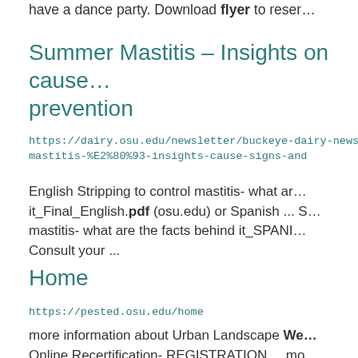have a dance party. Download flyer to reser…
Summer Mastitis – Insights on cause… prevention
https://dairy.osu.edu/newsletter/buckeye-dairy-news… mastitis-%E2%80%93-insights-cause-signs-and
English Stripping to control mastitis- what ar… it_Final_English.pdf (osu.edu) or Spanish ... S… mastitis- what are the facts behind it_SPANI… Consult your ...
Home
https://pested.osu.edu/home
more information about Urban Landscape We… Online Recertification- REGISTRATION ... mo…